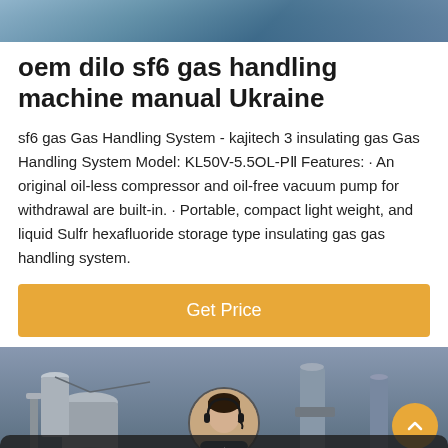[Figure (photo): Top banner photo showing industrial equipment, blue-grey tones]
oem dilo sf6 gas handling machine manual Ukraine
sf6 gas Gas Handling System - kajitech 3 insulating gas Gas Handling System Model: KL50V-5.5OL-PⅡ Features: · An original oil-less compressor and oil-free vacuum pump for withdrawal are built-in. · Portable, compact light weight, and liquid Sulfr hexafluoride storage type insulating gas gas handling system.
[Figure (other): Get Price button — orange/amber rectangular button with white text]
[Figure (photo): Bottom photo showing industrial gas handling equipment, dark background with back-to-top button and chat bar overlay]